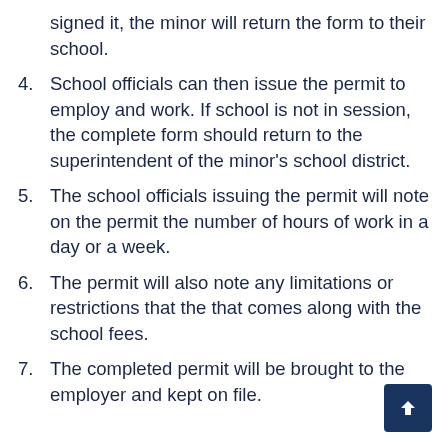signed it, the minor will return the form to their school.
4. School officials can then issue the permit to employ and work. If school is not in session, the complete form should return to the superintendent of the minor's school district.
5. The school officials issuing the permit will note on the permit the number of hours of work in a day or a week.
6. The permit will also note any limitations or restrictions that the that comes along with the school fees.
7. The completed permit will be brought to the employer and kept on file.